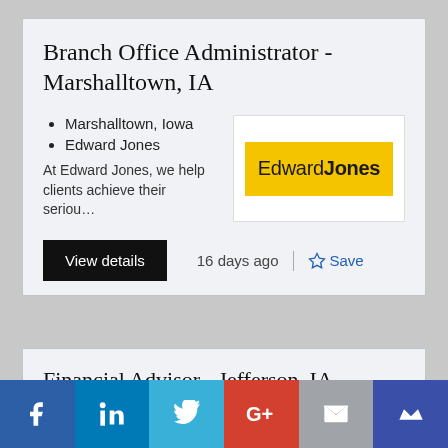Branch Office Administrator - Marshalltown, IA
Marshalltown, Iowa
Edward Jones
At Edward Jones, we help clients achieve their seriou…
[Figure (logo): Edward Jones logo - yellow background with 'Edward Jones' text]
View details
16 days ago
Save
Financial Advisor - Jefferson, IA
Jefferson, Iowa
[Figure (infographic): Social media share bar: Facebook, LinkedIn, Twitter, Google+, Email, Crown/MeWe icons]